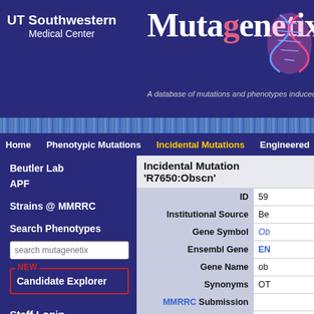[Figure (screenshot): UT Southwestern Medical Center logo with white text on dark blue background]
Mutagenetix
A database of mutations and phenotypes induced b
Home  Phenotypic Mutations  Incidental Mutations  Engineered
Beutler Lab
APF
Strains @ MMRRC
Search Phenotypes
Candidate Explorer
Staff Login
Download
Incidental Mutation 'R7650:Obscn'
| Field | Value |
| --- | --- |
| ID | 59 |
| Institutional Source | Be |
| Gene Symbol | Ob |
| Ensembl Gene | EN |
| Gene Name | ob |
| Synonyms | OT |
| MMRRC Submission |  |
| Accession Numbers | Ge |
| Is this an essential gene? | Po |
| Stock # |  |